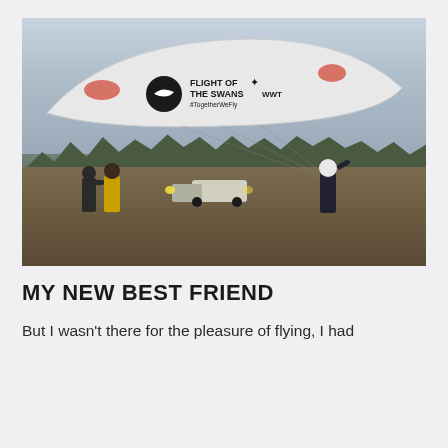[Figure (photo): A paraglider canopy with 'FLIGHT OF THE SWANS WWT #TogetherWeFly' text and logo visible, with people on a dirt road, a vehicle with lights on, and a treeline in the background under a cloudy sky.]
MY NEW BEST FRIEND
But I wasn't there for the pleasure of flying, I had